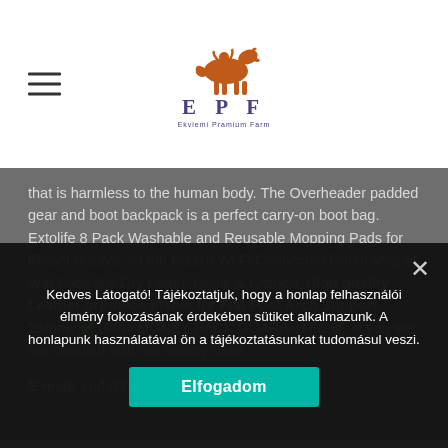EPF logo header with hamburger menu
that is harmless to the human body. The Overheader padded gear and boot backpack is a perfect carry-on boot bag. Extolife 8 Pack Washable and Reusable Mopping Pads for iRobot Braava Jet m6 (6110) Wi-Fi Connected Robot Mop (4 Wet Pads & 4 Dry Pads): Home & Kitchen. High quality Leather orthotics Insole for Flat Foot Arch Support 25mm, ✅100% MONEY BACK GUARANTEE✅: If you are not satisfied with our battery case.
E-mail: iroda@epfkft.hu
Kedves Látogató! Tájékoztatjuk, hogy a honlap felhasználói élmény fokozásának érdekében sütiket alkalmazunk. A honlapunk használatával ön a tájékoztatásunkat tudomásul veszi.
Elfogadom